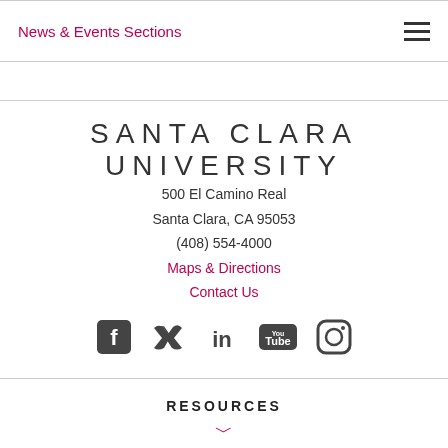News & Events Sections
SANTA CLARA UNIVERSITY
500 El Camino Real
Santa Clara, CA 95053
(408) 554-4000
Maps & Directions
Contact Us
[Figure (illustration): Social media icons: Facebook, Twitter, LinkedIn, YouTube, Instagram]
RESOURCES